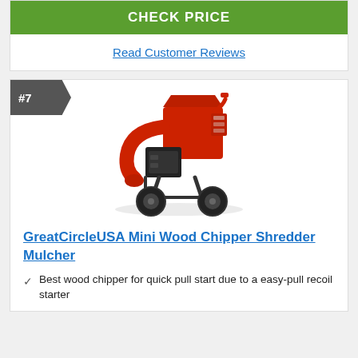CHECK PRICE
Read Customer Reviews
#7
[Figure (photo): Red GreatCircleUSA Mini Wood Chipper Shredder Mulcher with black engine, large wheels, and red hopper chute]
GreatCircleUSA Mini Wood Chipper Shredder Mulcher
Best wood chipper for quick pull start due to a easy-pull recoil starter